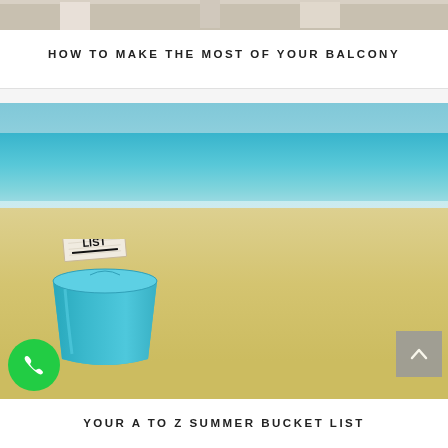[Figure (photo): Partial top image, appears to be a balcony scene, cropped at the top]
HOW TO MAKE THE MOST OF YOUR BALCONY
[Figure (photo): A blue bucket on a sandy beach holding a card that reads 'MY BUCKET LIST', with turquoise ocean in background. A scroll-to-top button is visible in the lower right of the image, and a green phone call button in the lower left.]
YOUR A TO Z SUMMER BUCKET LIST